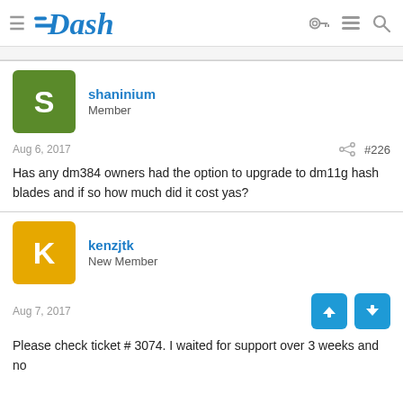Dash forum header with logo and navigation icons
shaninium
Member
Aug 6, 2017  #226
Has any dm384 owners had the option to upgrade to dm11g hash blades and if so how much did it cost yas?
kenzjtk
New Member
Aug 7, 2017
Please check ticket # 3074. I waited for support over 3 weeks and no